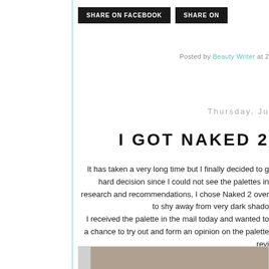SHARE ON FACEBOOK   SHARE ON
Posted by Beauty Writer at 2
Thursday, Ju
I GOT NAKED 2
It has taken a very long time but I finally decided to g hard decision since I could not see the palettes in research and recommendations, I chose Naked 2 over to shy away from very dark shado I received the palette in the mail today and wanted to a chance to try out and form an opinion on the palette revi Please comment on this post to let me Hope you enjo
[Figure (photo): Photo of what appears to be a makeup palette packaging, partially visible]